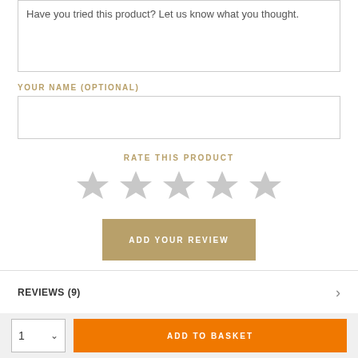Have you tried this product? Let us know what you thought.
YOUR NAME (OPTIONAL)
RATE THIS PRODUCT
[Figure (other): Five empty star rating icons in grey]
ADD YOUR REVIEW
REVIEWS (9)
ADD TO BASKET